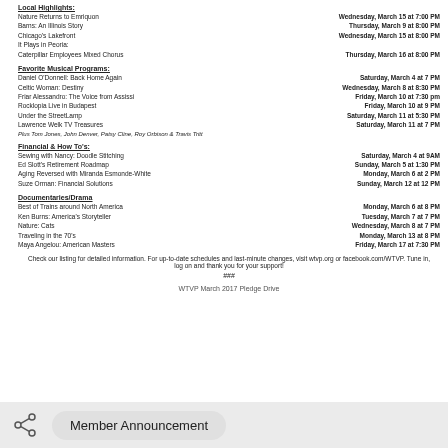Local Highlights:
Nature Returns to Emriquon — Wednesday, March 15 at 7:00 PM
Barns: An Illinois Story — Thursday, March 9 at 8:00 PM
Chicago's Lakefront — Wednesday, March 15 at 8:00 PM
It Plays in Peoria:
Caterpillar Employees Mixed Chorus — Thursday, March 16 at 8:00 PM
Favorite Musical Programs:
Daniel O'Donnell: Back Home Again — Saturday, March 4 at 7 PM
Celtic Woman: Destiny — Wednesday, March 8 at 8:30 PM
Friar Alessandro: The Voice from Assisi — Friday, March 10 at 7:30 pm
Rocklopia Live in Budapest — Friday, March 10 at 9 PM
Under the StreetLamp — Saturday, March 11 at 5:30 PM
Lawrence Welk TV Treasures — Saturday, March 11 at 7 PM
Plus Tom Jones, John Denver, Patsy Cline, Roy Orbison & Travis Tritt
Financial & How To's:
Sewing with Nancy: Doodle Stitching — Saturday, March 4 at 9AM
Ed Slott's Retirement Roadmap — Sunday, March 5 at 1:30 PM
Aging Reversed with Miranda Esmonde-White — Monday, March 6 at 2 PM
Suze Orman: Financial Solutions — Sunday, March 12 at 12 PM
Documentaries/Drama
Best of Trains around North America — Monday, March 6 at 8 PM
Ken Burns: America's Storyteller — Tuesday, March 7 at 7 PM
Nature: Cats — Wednesday, March 8 at 7 PM
Traveling in the 70's — Monday, March 13 at 8 PM
Maya Angelou: American Masters — Friday, March 17 at 7:30 PM
Check our listing for detailed information. For up-to-date schedules and last-minute changes, visit wtvp.org or facebook.com/WTVP. Tune in, log on and thank you for your support!
###
WTVP March 2017 Pledge Drive
Member Announcement